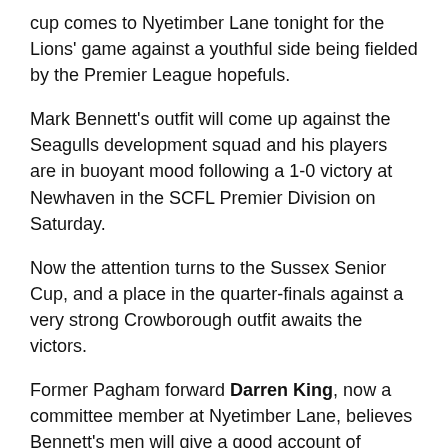cup comes to Nyetimber Lane tonight for the Lions' game against a youthful side being fielded by the Premier League hopefuls.
Mark Bennett's outfit will come up against the Seagulls development squad and his players are in buoyant mood following a 1-0 victory at Newhaven in the SCFL Premier Division on Saturday.
Now the attention turns to the Sussex Senior Cup, and a place in the quarter-finals against a very strong Crowborough outfit awaits the victors.
Former Pagham forward Darren King, now a committee member at Nyetimber Lane, believes Bennett's men will give a good account of themselves and predicts that Murfin could prove a thorn in the side of the visitors.